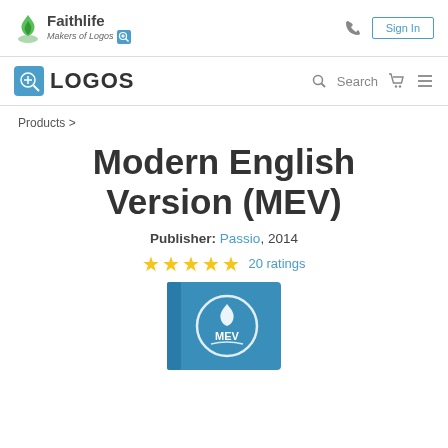[Figure (logo): Faithlife - Makers of Logos logo with green flame icon and search plus icon]
[Figure (logo): Logos Bible Software logo with blue square icon and LOGOS text]
Products >
Modern English Version (MEV)
Publisher: Passio, 2014
20 ratings
[Figure (illustration): Blue book cover with MEV circular logo showing flame and open book motif]